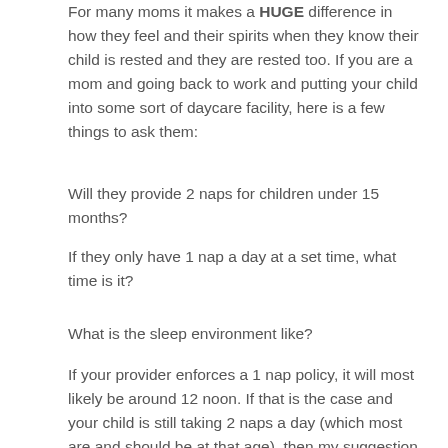For many moms it makes a HUGE difference in how they feel and their spirits when they know their child is rested and they are rested too. If you are a mom and going back to work and putting your child into some sort of daycare facility, here is a few things to ask them:
Will they provide 2 naps for children under 15 months?
If they only have 1 nap a day at a set time, what time is it?
What is the sleep environment like?
If your provider enforces a 1 nap policy, it will most likely be around 12 noon. If that is the case and your child is still taking 2 naps a day (which most are and should be at that age), then my suggestion is to establish proper sleep and give yourself at least 4 weeks to transition down to 1 nap in order to make it a smooth transition.
If your provider will provide a morning and afternoon nap- PERFECT! When your child knows how to fall